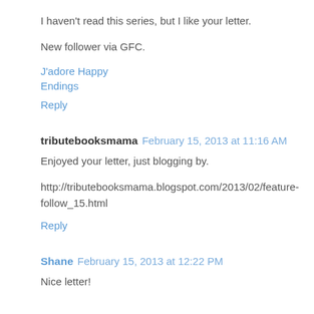I haven't read this series, but I like your letter.
New follower via GFC.
J'adore Happy Endings
Reply
tributebooksmama February 15, 2013 at 11:16 AM
Enjoyed your letter, just blogging by.
http://tributebooksmama.blogspot.com/2013/02/feature-follow_15.html
Reply
Shane February 15, 2013 at 12:22 PM
Nice letter!